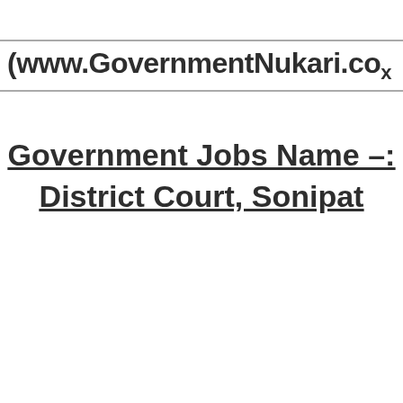(www.GovernmentNukari.co...
Government Jobs Name -: District Court, Sonipat